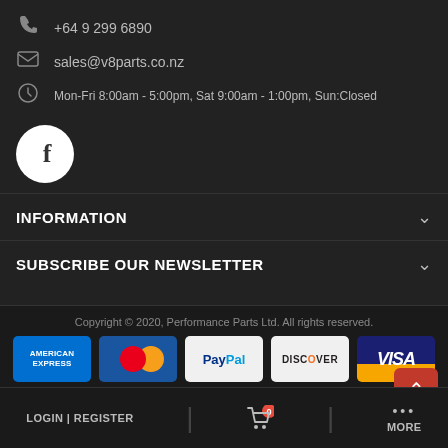+64 9 299 6890
sales@v8parts.co.nz
Mon-Fri 8:00am - 5:00pm, Sat 9:00am - 1:00pm, Sun:Closed
[Figure (logo): Facebook circular icon (white circle with dark 'f' letter)]
INFORMATION
SUBSCRIBE OUR NEWSLETTER
Copyright © 2020, Performance Parts Ltd. All rights reserved.
[Figure (logo): Payment method logos: American Express, Mastercard, PayPal, Discover, Visa]
LOGIN | REGISTER
0
MORE